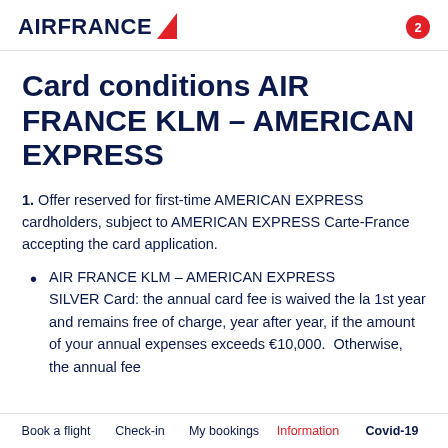AIRFRANCE [logo] 2
Card conditions AIR FRANCE KLM – AMERICAN EXPRESS
1. Offer reserved for first-time AMERICAN EXPRESS cardholders, subject to AMERICAN EXPRESS Carte-France accepting the card application.
AIR FRANCE KLM – AMERICAN EXPRESS SILVER Card: the annual card fee is waived the la 1st year and remains free of charge, year after year, if the amount of your annual expenses exceeds €10,000.  Otherwise, the annual fee is €35 + a 11 monthly payment of €5.44 and 1 monthly...
Book a flight   Check-in   My bookings   Information   Covid-19